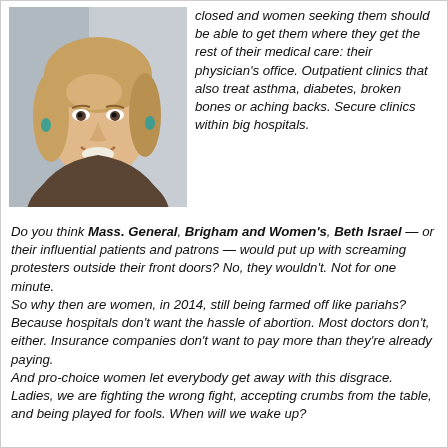[Figure (photo): Portrait photo of a middle-aged woman with blonde hair, smiling, wearing a brown top and turquoise earrings.]
closed and women seeking them should be able to get them where they get the rest of their medical care: their physician's office. Outpatient clinics that also treat asthma, diabetes, broken bones or aching backs. Secure clinics within big hospitals.
Do you think Mass. General, Brigham and Women's, Beth Israel — or their influential patients and patrons — would put up with screaming protesters outside their front doors? No, they wouldn't. Not for one minute.
So why then are women, in 2014, still being farmed off like pariahs?
Because hospitals don't want the hassle of abortion. Most doctors don't, either. Insurance companies don't want to pay more than they're already paying.
And pro-choice women let everybody get away with this disgrace.
Ladies, we are fighting the wrong fight, accepting crumbs from the table, and being played for fools. When will we wake up?